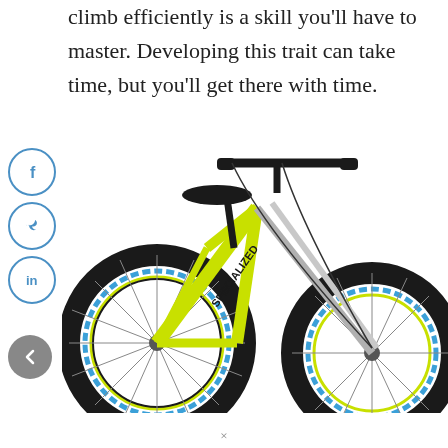climb efficiently is a skill you'll have to master. Developing this trait can take time, but you'll get there with time.
[Figure (photo): A neon yellow/green mountain bike with black tires, blue accents on the wheel rims, black handlebars, a black seat, and suspension forks, shown from the front-right angle on a white background.]
×